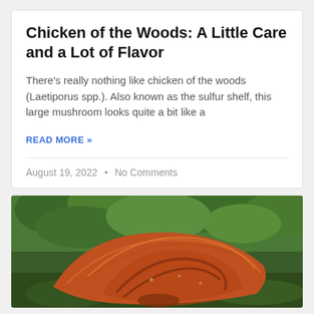Chicken of the Woods: A Little Care and a Lot of Flavor
There's really nothing like chicken of the woods (Laetiporus spp.). Also known as the sulfur shelf, this large mushroom looks quite a bit like a
READ MORE »
August 19, 2022  •  No Comments
[Figure (photo): Close-up photograph of a large orange-brown chicken of the woods (Laetiporus) mushroom growing in a forest setting with green foliage in the background.]